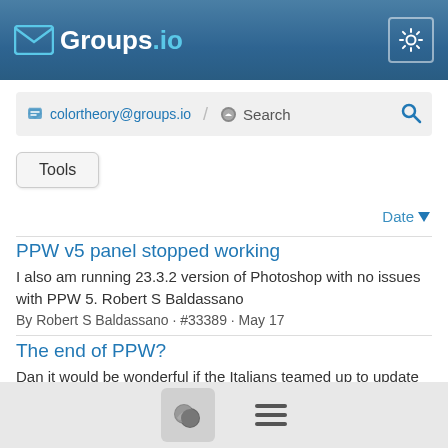Groups.io
colortheory@groups.io / Search
Tools
Date
PPW v5 panel stopped working
I also am running 23.3.2 version of Photoshop with no issues with PPW 5. Robert S Baldassano
By Robert S Baldassano · #33389 · May 17
The end of PPW?
Dan it would be wonderful if the Italians teamed up to update the PPW Panel. I certainly would not care if it was no longer